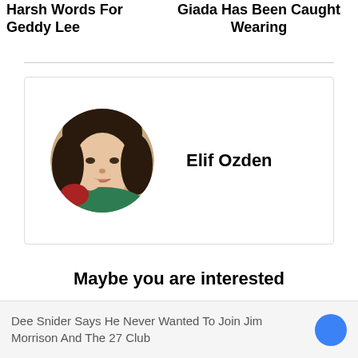Harsh Words For Geddy Lee   Giada Has Been Caught Wearing
[Figure (photo): Circular profile photo of a young woman with dark hair wearing a green top, hand resting near her chin]
Elif Ozden
Maybe you are interested
Dee Snider Says He Never Wanted To Join Jim Morrison And The 27 Club